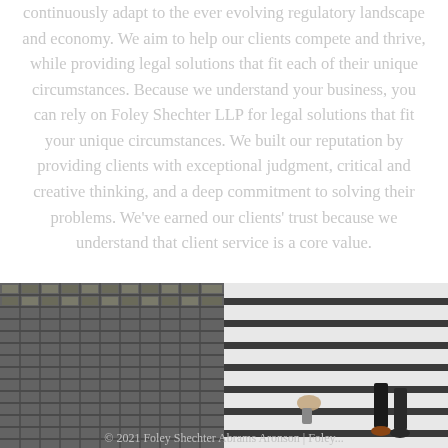continuously adapt to the ever evolving regulatory landscape and economy. We aim to help our clients compete and thrive, while providing legal solutions that fit each of their unique circumstances. Because we understand your business, you can rely on Foley Shechter LLP for legal solutions that fit your unique circumstances. We built our reputation by providing clients with exceptional judgment, critical and creative thinking, and a deep commitment to solving their problems. We've earned our clients' trust because we understand that client service is a core value.
[Figure (photo): Split image: left side shows aerial view of building architecture with grid-like pattern; right side shows a pedestrian crosswalk with feet/legs of people crossing]
© 2021 Foley Shechter Abrams Aronson | Foley...